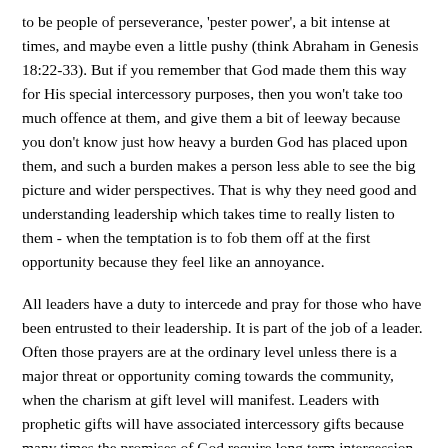to be people of perseverance, 'pester power', a bit intense at times, and maybe even a little pushy (think Abraham in Genesis 18:22-33). But if you remember that God made them this way for His special intercessory purposes, then you won't take too much offence at them, and give them a bit of leeway because you don't know just how heavy a burden God has placed upon them, and such a burden makes a person less able to see the big picture and wider perspectives. That is why they need good and understanding leadership which takes time to really listen to them - when the temptation is to fob them off at the first opportunity because they feel like an annoyance.
All leaders have a duty to intercede and pray for those who have been entrusted to their leadership. It is part of the job of a leader. Often those prayers are at the ordinary level unless there is a major threat or opportunity coming towards the community, when the charism at gift level will manifest. Leaders with prophetic gifts will have associated intercessory gifts because many times the promises of God require long term intercession in order to come to fruition.
Frequently a prophetic charism will lead to growth in intercessory charism, and so to pray, and so it will lead to growth that we don't...